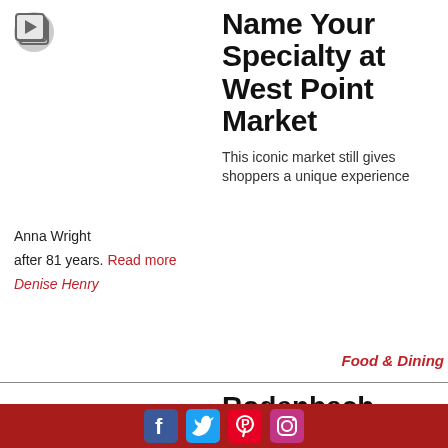[Figure (logo): Play/video icon button in grey circle]
Name Your Specialty at West Point Market
This iconic market still gives shoppers a unique experience
Anna Wright
after 81 years. Read more
Denise Henry
Food & Dining
Rodenbach Fruitage
Belgium’s Rodenbach brings the creativity up a notch with their newest addition, Fruitage, a blend of both
Facebook Twitter Pinterest Instagram